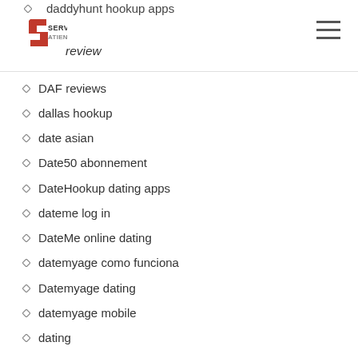SERVI ATIENDE review
daddyhunt hookup apps
DAF reviews
dallas hookup
date asian
Date50 abonnement
DateHookup dating apps
dateme log in
DateMe online dating
datemyage como funciona
Datemyage dating
datemyage mobile
dating
dating apps
dating cafe abmelden
dating cafe preise
dating for seniors mobile site
Dating fur 30-jahrige erfahrung